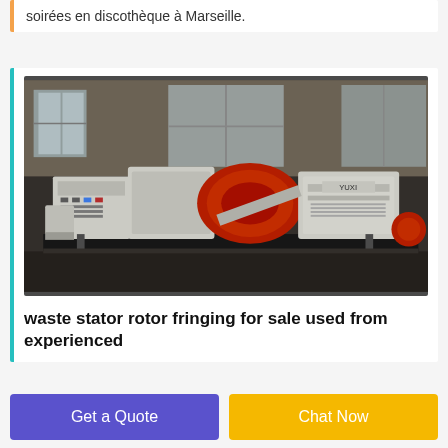soirées en discothèque à Marseille.
[Figure (photo): Industrial machine — waste stator rotor fringing machine, white and red colored, in a warehouse/factory setting]
waste stator rotor fringing for sale used from experienced
Get a Quote
Chat Now